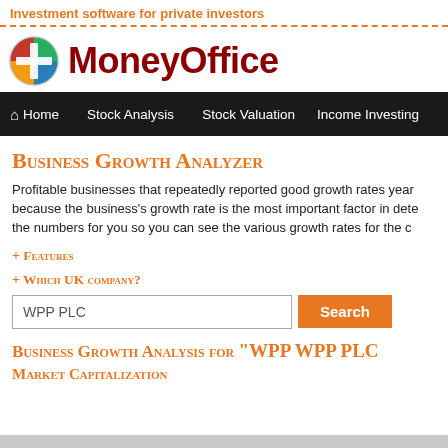Investment software for private investors
[Figure (logo): MoneyOffice logo: colorful circular icon with cross/plus symbol in quadrants (red, green, blue, yellow) next to bold dark red text 'MoneyOffice']
Home  Stock Analysis  Stock Valuation  Income Investing
Business Growth Analyzer
Profitable businesses that repeatedly reported good growth rates year... because the business's growth rate is the most important factor in dete... the numbers for you so you can see the various growth rates for the c...
+ Features
+ Which UK company?
WPP PLC
Business Growth Analysis for "WPP WPP PLC"
Market Capitalization